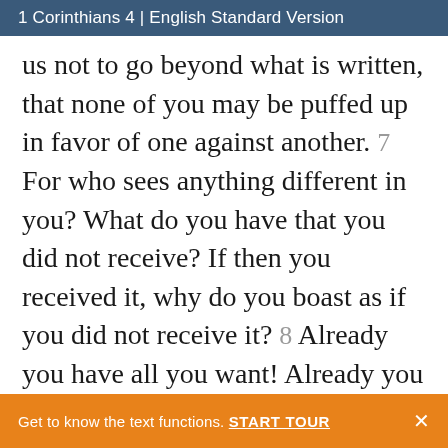1 Corinthians 4 | English Standard Version
us not to go beyond what is written, that none of you may be puffed up in favor of one against another. 7 For who sees anything different in you? What do you have that you did not receive? If then you received it, why do you boast as if you did not receive it? 8 Already you have all you want! Already you have become rich! Without us you have become kings! And would that you did reign, so that we
Get to know the text functions. START TOUR